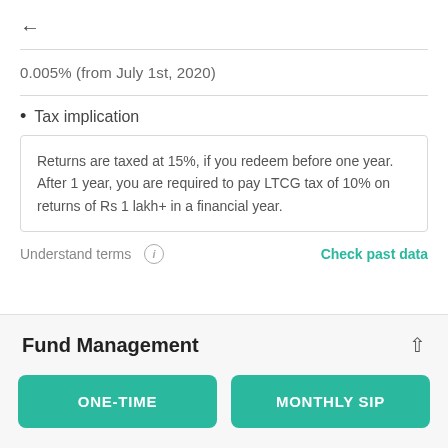←
0.005% (from July 1st, 2020)
Tax implication
Returns are taxed at 15%, if you redeem before one year. After 1 year, you are required to pay LTCG tax of 10% on returns of Rs 1 lakh+ in a financial year.
Understand terms  ℹ    Check past data
Fund Management
ONE-TIME
MONTHLY SIP